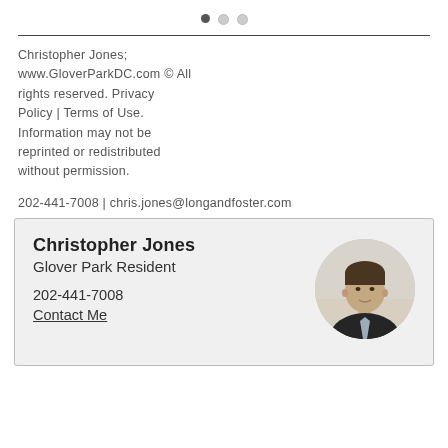• ○ ○
Christopher Jones; www.GloverParkDC.com © All rights reserved. Privacy Policy | Terms of Use. Information may not be reprinted or redistributed without permission.
202-441-7008 | chris.jones@longandfoster.com
[Figure (other): Contact card for Christopher Jones, Glover Park Resident, showing phone number 202-441-7008, Contact Me link, and a circular portrait photo of a man in a dark suit]